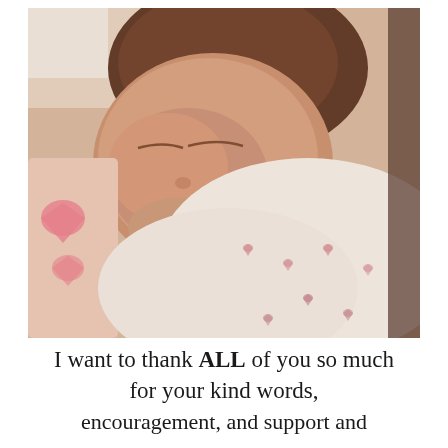[Figure (photo): Close-up photograph of a sleeping newborn baby with chubby cheeks resting on a white pillow/blanket with small pink hearts. The baby is wrapped in a pink and white blanket with heart pattern. The photo has a warm, slightly faded Instagram-style filter.]
I want to thank ALL of you so much for your kind words, encouragement, and support and